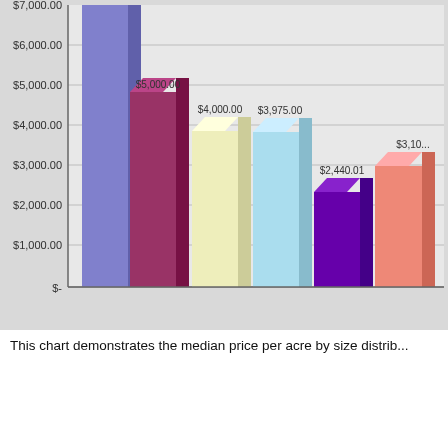[Figure (bar-chart): Median Price Per Acre by Size Distribution]
This chart demonstrates the median price per acre by size distrib...